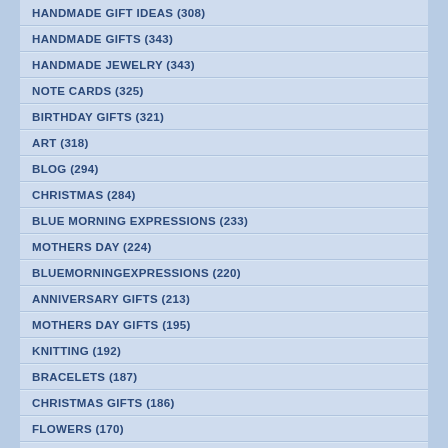HANDMADE GIFT IDEAS (308)
HANDMADE GIFTS (343)
HANDMADE JEWELRY (343)
NOTE CARDS (325)
BIRTHDAY GIFTS (321)
ART (318)
BLOG (294)
CHRISTMAS (284)
BLUE MORNING EXPRESSIONS (233)
MOTHERS DAY (224)
BLUEMORNINGEXPRESSIONS (220)
ANNIVERSARY GIFTS (213)
MOTHERS DAY GIFTS (195)
KNITTING (192)
BRACELETS (187)
CHRISTMAS GIFTS (186)
FLOWERS (170)
GEMSTONES (162)